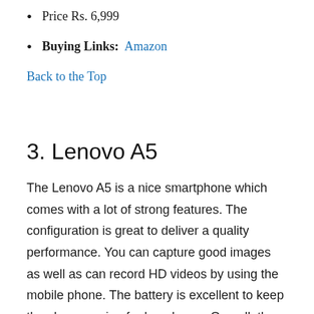Price Rs. 6,999
Buying Links: Amazon
Back to the Top
3. Lenovo A5
The Lenovo A5 is a nice smartphone which comes with a lot of strong features. The configuration is great to deliver a quality performance. You can capture good images as well as can record HD videos by using the mobile phone. The battery is excellent to keep the show running for long hours. Overall, the Lenovo A5 is one of the best smartphone in this price range to go for.